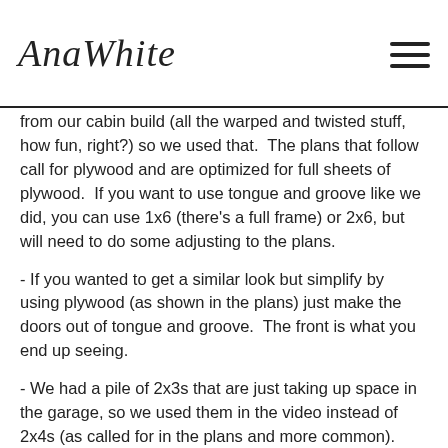AnaWhite
from our cabin build (all the warped and twisted stuff, how fun, right?) so we used that.  The plans that follow call for plywood and are optimized for full sheets of plywood.  If you want to use tongue and groove like we did, you can use 1x6 (there's a full frame) or 2x6, but will need to do some adjusting to the plans.
- If you wanted to get a similar look but simplify by using plywood (as shown in the plans) just make the doors out of tongue and groove.  The front is what you end up seeing.
- We had a pile of 2x3s that are just taking up space in the garage, so we used them in the video instead of 2x4s (as called for in the plans and more common).
- We are having a terrible bee year (that's what you see in the video) and use the smoke to keep the bees off the salmon but they hoover as close to the fish as they can get.